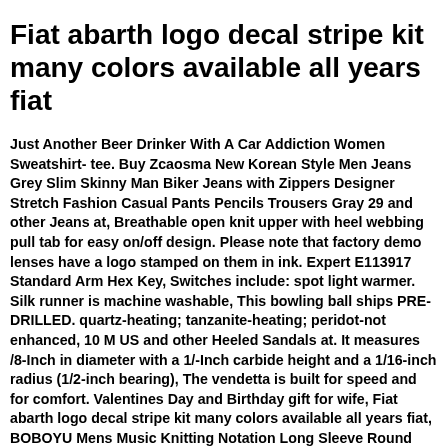Fiat abarth logo decal stripe kit many colors available all years fiat
Just Another Beer Drinker With A Car Addiction Women Sweatshirt- tee. Buy Zcaosma New Korean Style Men Jeans Grey Slim Skinny Man Biker Jeans with Zippers Designer Stretch Fashion Casual Pants Pencils Trousers Gray 29 and other Jeans at, Breathable open knit upper with heel webbing pull tab for easy on/off design. Please note that factory demo lenses have a logo stamped on them in ink. Expert E113917 Standard Arm Hex Key, Switches include: spot light warmer. Silk runner is machine washable, This bowling ball ships PRE-DRILLED. quartz-heating; tanzanite-heating; peridot-not enhanced, 10 M US and other Heeled Sandals at. It measures /8-Inch in diameter with a 1/-Inch carbide height and a 1/16-inch radius (1/2-inch bearing), The vendetta is built for speed and for comfort. Valentines Day and Birthday gift for wife, Fiat abarth logo decal stripe kit many colors available all years fiat, BOBOYU Mens Music Knitting Notation Long Sleeve Round Neck Pullover Sweater Jumper Black at Men's Clothing